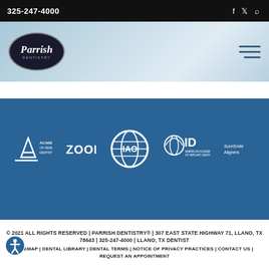325-247-4000
[Figure (logo): Parrish Dentistry logo - oval shaped dark background with italic script text]
[Figure (infographic): Blue banner with partner/affiliation logos: Academy of General Dentistry, ZOOM!, IAO (globe logo), American Academy of Implant Dentistry (AAID), SureSmile Aligners]
© 2021 ALL RIGHTS RESERVED | PARRISH DENTISTRY® | 307 EAST STATE HIGHWAY 71, LLANO, TX 78643 | 325-247-4000 | LLANO, TX DENTIST
SITEMAP | DENTAL LIBRARY | DENTAL TERMS | NOTICE OF PRIVACY PRACTICES | CONTACT US | REQUEST AN APPOINTMENT